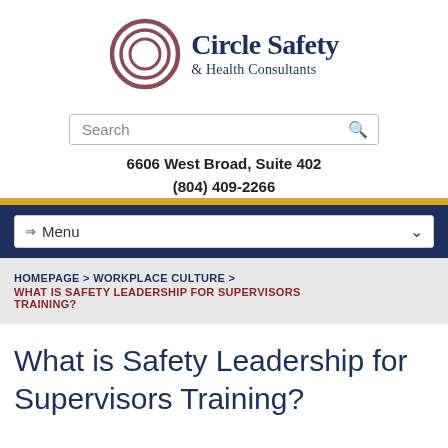[Figure (logo): Circle Safety & Health Consultants logo with concentric circles icon and text]
Search
6606 West Broad, Suite 402
(804) 409-2266
⇒ Menu
HOMEPAGE > WORKPLACE CULTURE > WHAT IS SAFETY LEADERSHIP FOR SUPERVISORS TRAINING?
What is Safety Leadership for Supervisors Training?